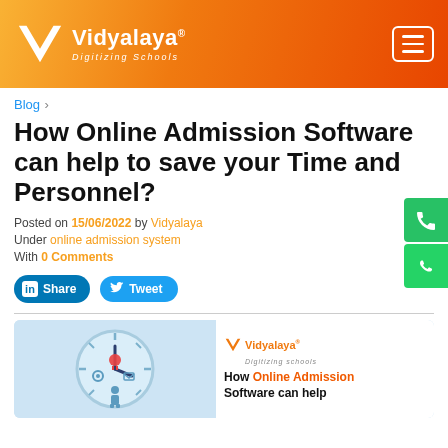Vidyalaya – Digitizing Schools
Blog >
How Online Admission Software can help to save your Time and Personnel?
Posted on 15/06/2022 by Vidyalaya
Under online admission system
With 0 Comments
Share  Tweet
[Figure (illustration): Promotional illustration showing a clock with icons (lightbulb, gear, envelope, person) and Vidyalaya logo, with text 'How Online Admission Software can help']